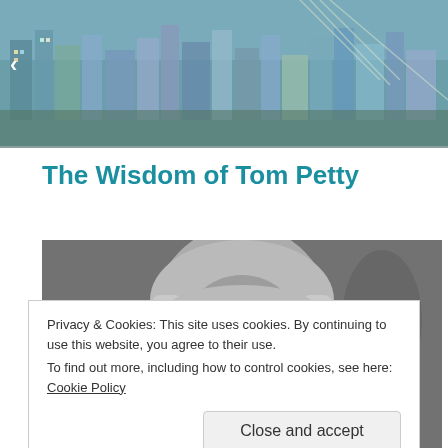[Figure (photo): Top banner showing a colorful illustrated cityscape with buildings, bridges, and urban scene]
The Wisdom of Tom Petty
[Figure (photo): Black and white photograph of a person with long blonde hair, partially covering their face, with an arm raised]
Privacy & Cookies: This site uses cookies. By continuing to use this website, you agree to their use.
To find out more, including how to control cookies, see here: Cookie Policy
Close and accept